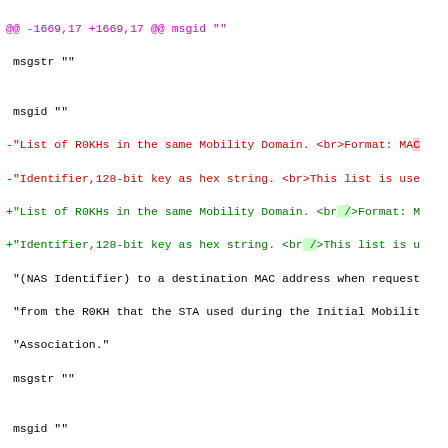diff hunk header: @@ -1669,17 +1669,17 @@ msgid ""
Code diff showing msgid/msgstr blocks with R0KH and R1KH list descriptions, and a msgstr block for wpad/hostapd.